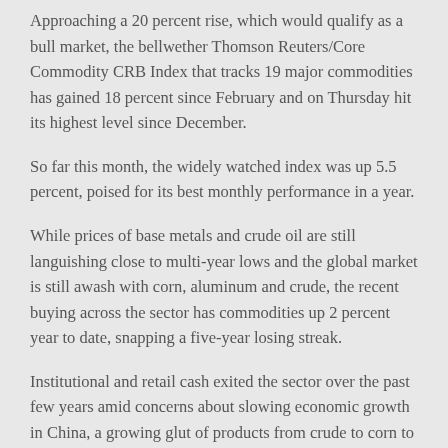Approaching a 20 percent rise, which would qualify as a bull market, the bellwether Thomson Reuters/Core Commodity CRB Index that tracks 19 major commodities has gained 18 percent since February and on Thursday hit its highest level since December.
So far this month, the widely watched index was up 5.5 percent, poised for its best monthly performance in a year.
While prices of base metals and crude oil are still languishing close to multi-year lows and the global market is still awash with corn, aluminum and crude, the recent buying across the sector has commodities up 2 percent year to date, snapping a five-year losing streak.
Institutional and retail cash exited the sector over the past few years amid concerns about slowing economic growth in China, a growing glut of products from crude to corn to copper and a strong dollar.